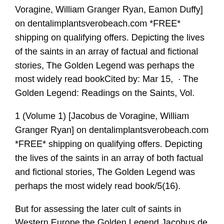Voragine, William Granger Ryan, Eamon Duffy] on dentalimplantsverobeach.com *FREE* shipping on qualifying offers. Depicting the lives of the saints in an array of factual and fictional stories, The Golden Legend was perhaps the most widely read bookCited by: Mar 15,  · The Golden Legend: Readings on the Saints, Vol.
1 (Volume 1) [Jacobus de Voragine, William Granger Ryan] on dentalimplantsverobeach.com *FREE* shipping on qualifying offers. Depicting the lives of the saints in an array of both factual and fictional stories, The Golden Legend was perhaps the most widely read book/5(16).
But for assessing the later cult of saints in Western Europe the Golden Legend Jacobus de Voragine, writing aboutachieved dominance in later western hagiographical literature - about manuscripts of his Golden Legend survive.
One of the central texts of the Middle Ages, The Golden Legend deeply influenced the imagery of poetry, painting and stained glass with its fascinating descriptions of saints' lives and religious festivals.